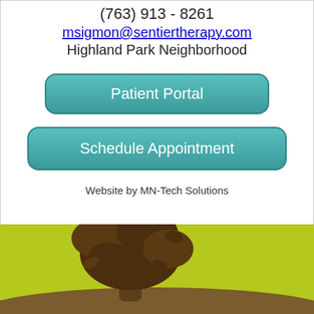(763) 913 - 8261
msigmon@sentiertherapy.com
Highland Park Neighborhood
Patient Portal
Schedule Appointment
Website by MN-Tech Solutions
[Figure (illustration): Stylized tree illustration with brown trunk and leaves on a yellow-green background, used as decorative footer graphic for Sentier Therapy website.]